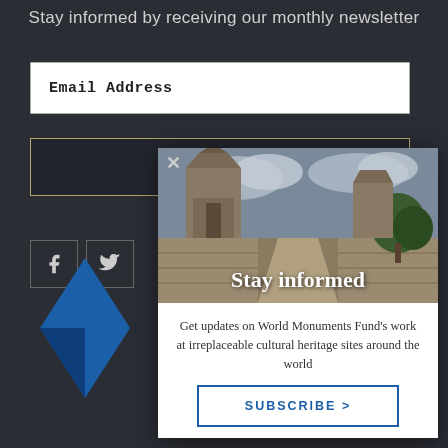Stay informed by receiving our monthly newsletter
Email Address
SUBSCRIBE
[Figure (screenshot): Popup modal overlay showing a temple/ancient ruins photo with 'Stay informed' text, a description about World Monuments Fund's work, and a SUBSCRIBE > button]
Stay informed
Get updates on World Monuments Fund's work at irreplaceable cultural heritage sites around the world
SUBSCRIBE >